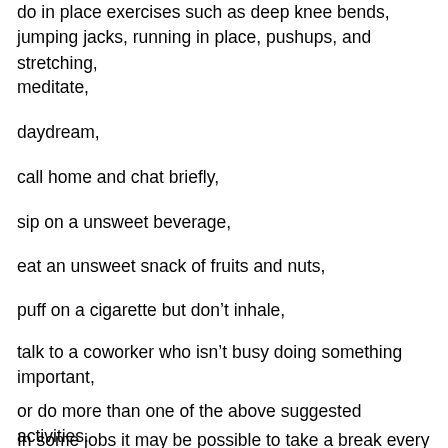do in place exercises such as deep knee bends, jumping jacks, running in place, pushups, and stretching,
meditate,
daydream,
call home and chat briefly,
sip on a unsweet beverage,
eat an unsweet snack of fruits and nuts,
puff on a cigarette but don’t inhale,
talk to a coworker who isn’t busy doing something important,
or do more than one of the above suggested activities.
In some jobs it may be possible to take a break every two